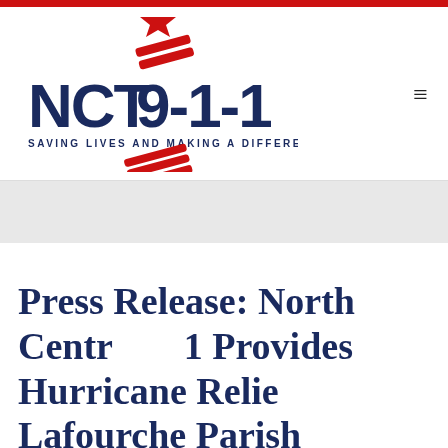[Figure (logo): NCT 9-1-1 logo with red star and chevrons, text 'SAVING LIVES AND MAKING A DIFFERENCE' in dark navy blue]
Press Release: North Central 9-1-1 Provides Hurricane Relief to Lafourche Parish Sheriff's